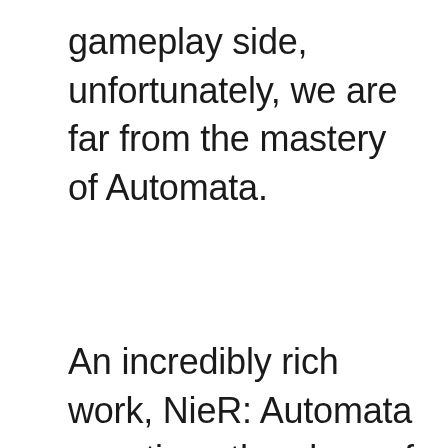gameplay side, unfortunately, we are far from the mastery of Automata.
An incredibly rich work, NieR: Automata questions the place of the